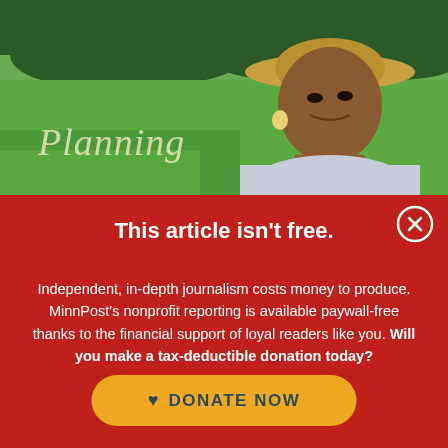[Figure (photo): A smiling woman wearing a straw hat standing in a green field, with the word 'Planning' overlaid in italic text on the left side of the photo]
This article isn't free.
Independent, in-depth journalism costs money to produce. MinnPost's nonprofit reporting is available paywall-free thanks to the financial support of loyal readers like you. Will you make a tax-deductible donation today?
DONATE NOW